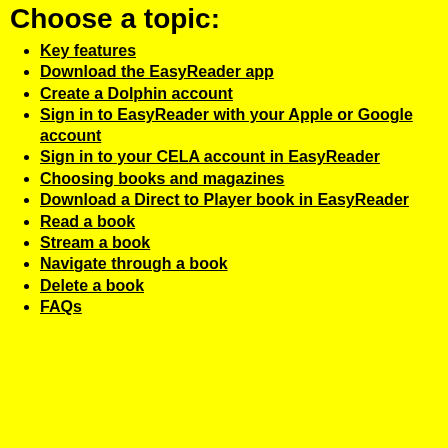Choose a topic:
Key features
Download the EasyReader app
Create a Dolphin account
Sign in to EasyReader with your Apple or Google account
Sign in to your CELA account in EasyReader
Choosing books and magazines
Download a Direct to Player book in EasyReader
Read a book
Stream a book
Navigate through a book
Delete a book
FAQs